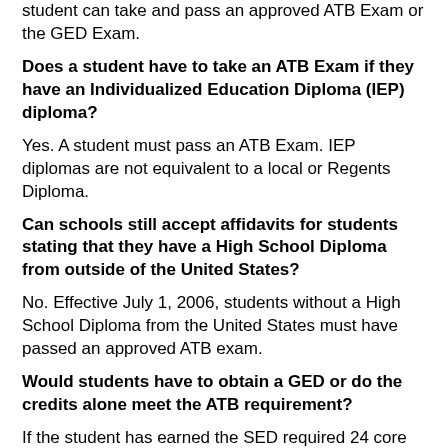student can take and pass an approved ATB Exam or the GED Exam.
Does a student have to take an ATB Exam if they have an Individualized Education Diploma (IEP) diploma?
Yes. A student must pass an ATB Exam. IEP diplomas are not equivalent to a local or Regents Diploma.
Can schools still accept affidavits for students stating that they have a High School Diploma from outside of the United States?
No. Effective July 1, 2006, students without a High School Diploma from the United States must have passed an approved ATB exam.
Would students have to obtain a GED or do the credits alone meet the ATB requirement?
If the student has earned the SED required 24 core credits, they must obtain a GED to prior to the first day of classes